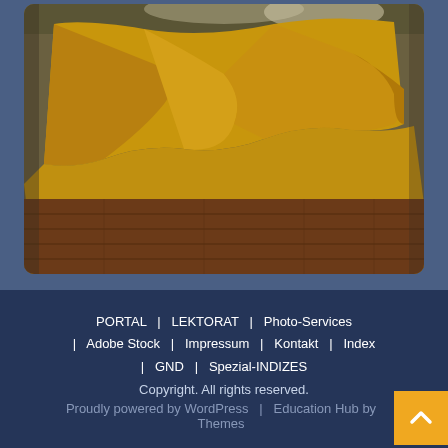[Figure (photo): A yellow/golden fleece or blanket draped over a surface, with wooden floor visible in the lower portion. A light-colored animal (possibly a cat or dog) is partially visible at the top.]
PORTAL  |  LEKTORAT  |  Photo-Services  |  Adobe Stock  |  Impressum  |  Kontakt  |  Index  |  GND  |  Spezial-INDIZES
Copyright. All rights reserved.
Proudly powered by WordPress  |  Education Hub by Themes